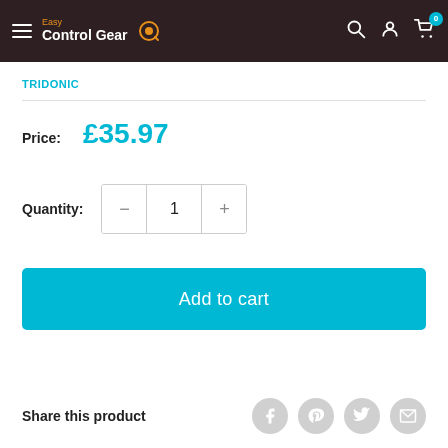Easy Control Gear — navigation header
TRIDONIC
Price: £35.97
Quantity: 1
Add to cart
Share this product